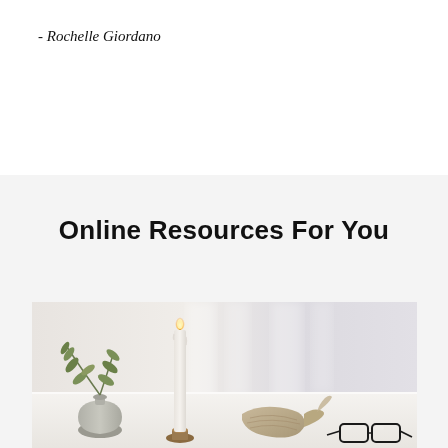- Rochelle Giordano
Online Resources For You
[Figure (photo): A styled still-life photograph on a white surface showing a small round vase with olive branches, a tall white taper candle with a small flame on a wooden holder, a decorative dried shell or corn husk, and a pair of black-rimmed glasses, with a soft blurred light background.]